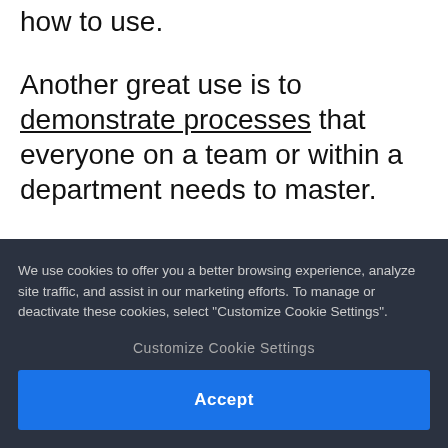how to use.
Another great use is to demonstrate processes that everyone on a team or within a department needs to master.
On the flip side, video allows employees, team members, and partners to consume information on their own time, at their own pace.
We use cookies to offer you a better browsing experience, analyze site traffic, and assist in our marketing efforts. To manage or deactivate these cookies, select "Customize Cookie Settings".
Customize Cookie Settings
Accept